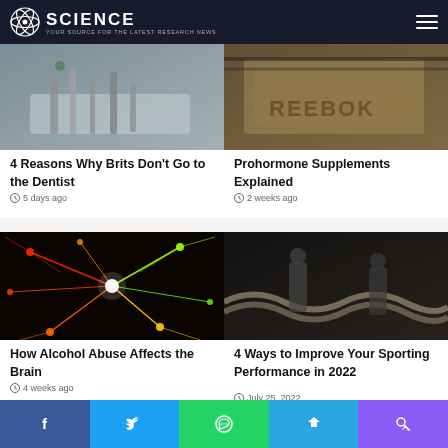SCIENCE — Your source for the latest research news
[Figure (photo): Dental tools on a tray — dentist instruments close-up]
4 Reasons Why Brits Don't Go to the Dentist
5 days ago
[Figure (photo): Reebok wooden box with chains — gym equipment]
Prohormone Supplements Explained
2 weeks ago
[Figure (photo): Colorful neon neural network illustration — brain neurons]
How Alcohol Abuse Affects the Brain
4 weeks ago
[Figure (photo): Two athletes doing battle rope exercise in a dark gym]
4 Ways to Improve Your Sporting Performance in 2022
July 25, 2022
Facebook | Twitter | WhatsApp | Telegram | Phone